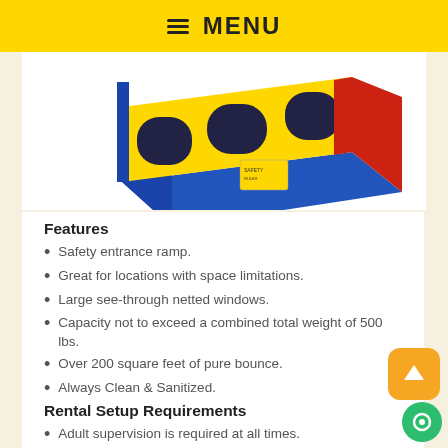☰ MENU
[Figure (photo): Partial view of a colorful inflatable bounce house in yellow, blue, and red, shot from a low angle showing the base and lower walls.]
Features
Safety entrance ramp.
Great for locations with space limitations.
Large see-through netted windows.
Capacity not to exceed a combined total weight of 500 lbs.
Over 200 square feet of pure bounce.
Always Clean & Sanitized.
Rental Setup Requirements
Adult supervision is required at all times.
This item requires 1 power outlet, within 50' of setup area on its own circuit.
Area required for setup: 20'x17'x11'